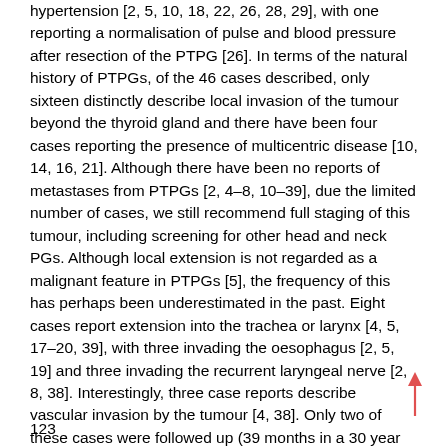hypertension [2, 5, 10, 18, 22, 26, 28, 29], with one reporting a normalisation of pulse and blood pressure after resection of the PTPG [26]. In terms of the natural history of PTPGs, of the 46 cases described, only sixteen distinctly describe local invasion of the tumour beyond the thyroid gland and there have been four cases reporting the presence of multicentric disease [10, 14, 16, 21]. Although there have been no reports of metastases from PTPGs [2, 4–8, 10–39], due the limited number of cases, we still recommend full staging of this tumour, including screening for other head and neck PGs. Although local extension is not regarded as a malignant feature in PTPGs [5], the frequency of this has perhaps been underestimated in the past. Eight cases report extension into the trachea or larynx [4, 5, 17–20, 39], with three invading the oesophagus [2, 5, 19] and three invading the recurrent laryngeal nerve [2, 8, 38]. Interestingly, three case reports describe vascular invasion by the tumour [4, 38]. Only two of these cases were followed up (39 months in a 30 year old female and 8 years in a
123